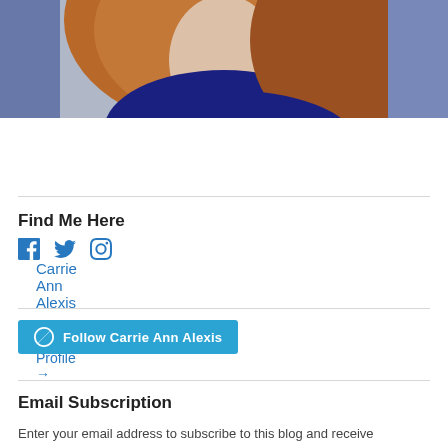[Figure (photo): Cropped photo of Carrie Ann Alexis, showing lower portion of face and blue shirt, with long auburn hair]
Carrie Ann Alexis
View Full Profile →
Find Me Here
[Figure (illustration): Social media icons: Facebook, Twitter, Instagram in blue]
[Figure (illustration): WordPress Follow button: Follow Carrie Ann Alexis]
Email Subscription
Enter your email address to subscribe to this blog and receive